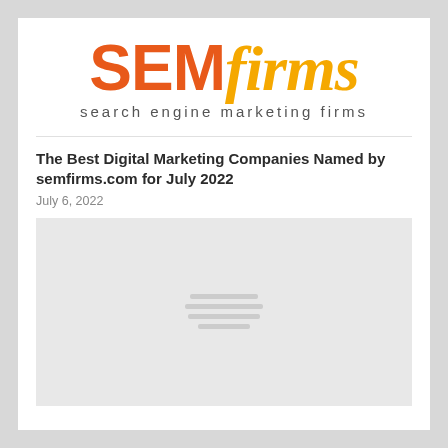[Figure (logo): SEMfirms logo: 'SEM' in bold orange and 'firms' in italic gold/yellow, with tagline 'search engine marketing firms' below]
The Best Digital Marketing Companies Named by semfirms.com for July 2022
July 6, 2022
[Figure (photo): Large image placeholder with loading indicator lines (gray lines on light gray background), image not yet loaded]